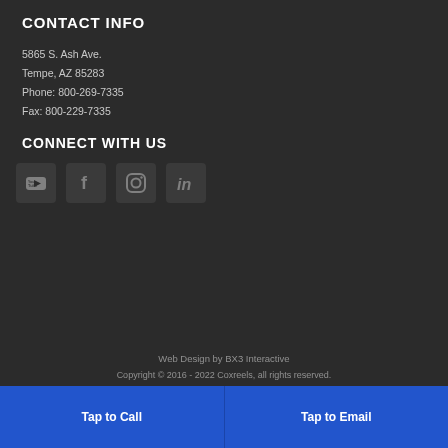CONTACT INFO
5865 S. Ash Ave.
Tempe, AZ 85283
Phone: 800-269-7335
Fax: 800-229-7335
CONNECT WITH US
[Figure (other): Social media icons: YouTube, Facebook, Instagram, LinkedIn]
Web Design by BX3 Interactive
Copyright © 2016 - 2022 Coxreels, all rights reserved.
Tap to Call
Tap to Email